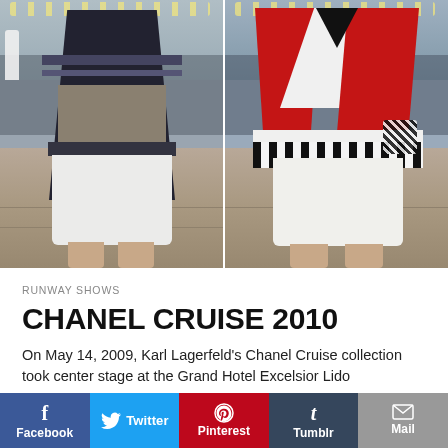[Figure (photo): Two male models walking a wooden runway at Chanel Cruise 2010 fashion show. Left model wears a dark striped jacket over a striped top with white shorts, barefoot. Right model wears a red, white and black geometric/striped sweater with white shorts, barefoot. Seated audience visible in background.]
RUNWAY SHOWS
CHANEL CRUISE 2010
On May 14, 2009, Karl Lagerfeld's Chanel Cruise collection took center stage at the Grand Hotel Excelsior Lido
Facebook | Twitter | Pinterest | Tumblr | Mail